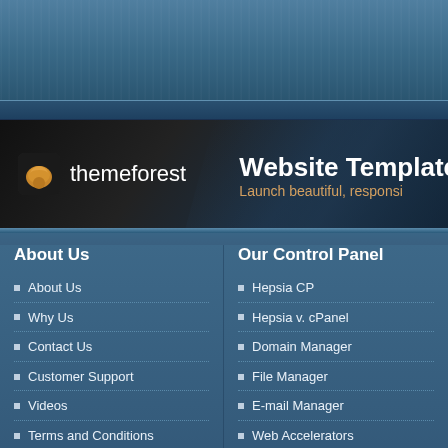[Figure (logo): ThemeForest logo with muscle icon, white text on dark background banner. Header reads 'Website Template' with subtitle 'Launch beautiful, responsi...']
About Us
About Us
Why Us
Contact Us
Customer Support
Videos
Terms and Conditions
Hosting Articles
Web Hosting Articles
Our Control Panel
Hepsia CP
Hepsia v. cPanel
Domain Manager
File Manager
E-mail Manager
Web Accelerators
Application Hosting
WordPress Hosting